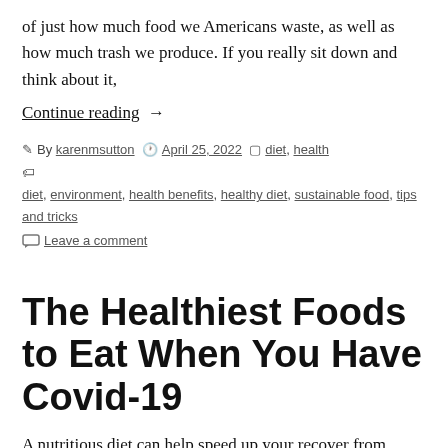of just how much food we Americans waste, as well as how much trash we produce. If you really sit down and think about it,
Continue reading →
By karenmsutton   April 25, 2022   diet, health   Tags: diet, environment, health benefits, healthy diet, sustainable food, tips and tricks   Leave a comment
The Healthiest Foods to Eat When You Have Covid-19
A nutritious diet can help speed up your recover from Covid-19. Covid-19 can take a huge toll on